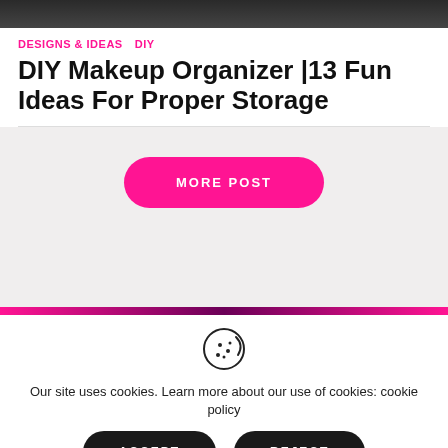[Figure (photo): Top portion of a photo showing people, cropped at the top of the page]
DESIGNS & IDEAS   DIY
DIY Makeup Organizer |13 Fun Ideas For Proper Storage
MORE POST
[Figure (illustration): Cookie icon (cookie with bite taken out and dots)]
Our site uses cookies. Learn more about our use of cookies: cookie policy
ACCEPT
REJECT